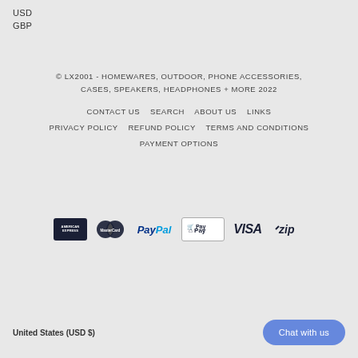USD
GBP
© LX2001 - HOMEWARES, OUTDOOR, PHONE ACCESSORIES, CASES, SPEAKERS, HEADPHONES + MORE 2022
CONTACT US   SEARCH   ABOUT US   LINKS
PRIVACY POLICY   REFUND POLICY   TERMS AND CONDITIONS
PAYMENT OPTIONS
[Figure (logo): Payment method logos: American Express, MasterCard, PayPal, Shopify Pay, Visa, Zip]
United States (USD $)
Chat with us